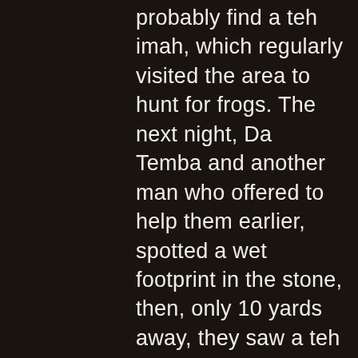probably find a teh imah, which regularly visited the area to hunt for frogs. The next night, Da Temba and another man who offered to help them earlier, spotted a wet footprint in the stone, then, only 10 yards away, they saw a teh imah in the torchlight. It was 4.5 ft tall, with a pointed head and no neck, and had reddish grey hair. When the teh imah started walking towards them, they ran away and slept in a nearby village. Slick, Da Temba and Russel continued looking for the teh imah and used frogs as